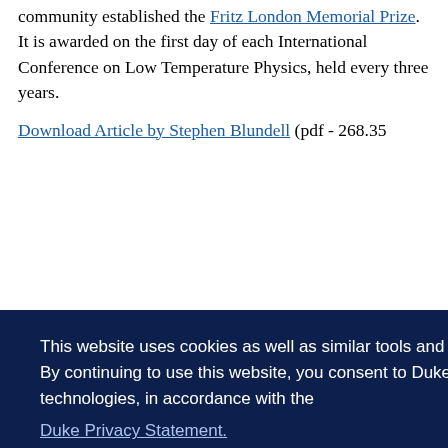community established the Fritz London Memorial Prize. It is awarded on the first day of each International Conference on Low Temperature Physics, held every three years.
Download Article by Stephen Blundell (pdf - 268.35
5 KB)
)
This website uses cookies as well as similar tools and technologies to understand visitors' experiences. By continuing to use this website, you consent to Duke University's usage of cookies and similar technologies, in accordance with the Duke Privacy Statement.
I ACCEPT
Duke reading chair theory